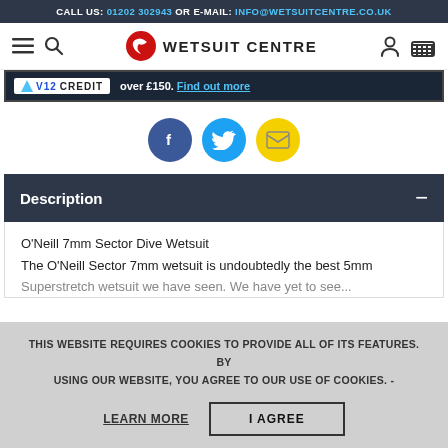CALL US: 01202 302943 OR E-MAIL: INFO@WETSUITCENTRE.CO.UK
[Figure (logo): Wetsuit Centre logo with navigation icons (hamburger menu, search, user, cart)]
[Figure (screenshot): Credit banner showing V12 Credit logo and text 'over £150. Find out more']
[Figure (infographic): Social sharing icons: Facebook (blue circle), Twitter (cyan circle), Email (yellow circle)]
Description
O'Neill 7mm Sector Dive Wetsuit
The O'Neill Sector 7mm wetsuit is undoubtedly the best 5mm Superstretch wetsuit we have seen. We have yet to see...
THIS WEBSITE REQUIRES COOKIES TO PROVIDE ALL OF ITS FEATURES. BY USING OUR WEBSITE, YOU AGREE TO OUR USE OF COOKIES. -